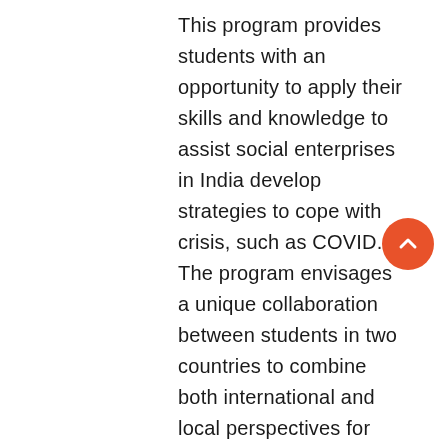This program provides students with an opportunity to apply their skills and knowledge to assist social enterprises in India develop strategies to cope with crisis, such as COVID. The program envisages a unique collaboration between students in two countries to combine both international and local perspectives for problem-solving. Using the COIL model, this program would involve co-teaching and mentoring by faculty in India and a faculty country. Faculty would provide insights into factors shaping India's economy and
[Figure (other): Orange circular scroll-to-top button with an upward-pointing chevron arrow icon]